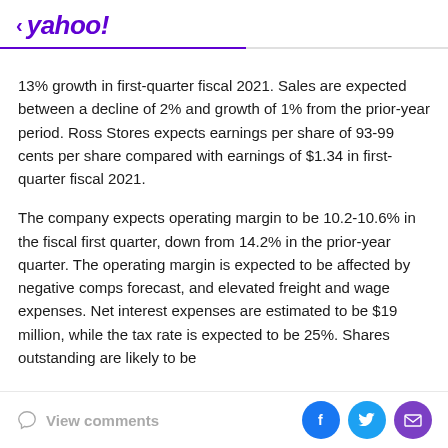< yahoo!
13% growth in first-quarter fiscal 2021. Sales are expected between a decline of 2% and growth of 1% from the prior-year period. Ross Stores expects earnings per share of 93-99 cents per share compared with earnings of $1.34 in first-quarter fiscal 2021.
The company expects operating margin to be 10.2-10.6% in the fiscal first quarter, down from 14.2% in the prior-year quarter. The operating margin is expected to be affected by negative comps forecast, and elevated freight and wage expenses. Net interest expenses are estimated to be $19 million, while the tax rate is expected to be 25%. Shares outstanding are likely to be
View comments